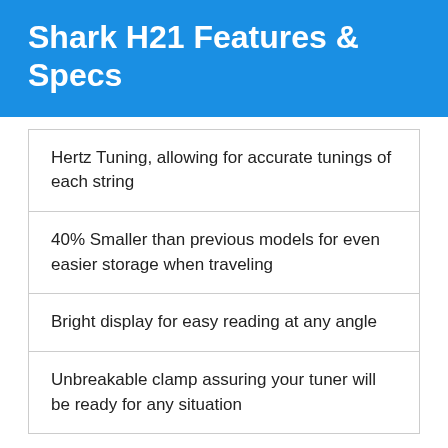Shark H21 Features & Specs
Hertz Tuning, allowing for accurate tunings of each string
40% Smaller than previous models for even easier storage when traveling
Bright display for easy reading at any angle
Unbreakable clamp assuring your tuner will be ready for any situation
[Figure (photo): Circular clip-on tuner device showing a display with green and yellow segments on a black dial, white casing, partially cropped at the bottom of the page]